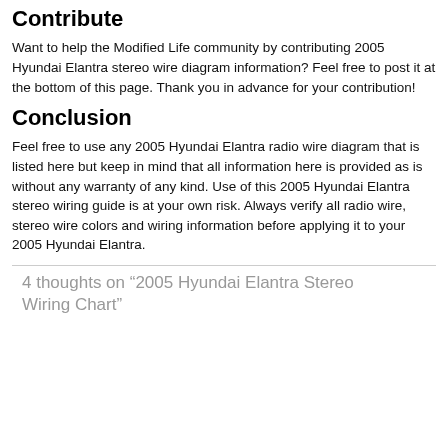Contribute
Want to help the Modified Life community by contributing 2005 Hyundai Elantra stereo wire diagram information? Feel free to post it at the bottom of this page. Thank you in advance for your contribution!
Conclusion
Feel free to use any 2005 Hyundai Elantra radio wire diagram that is listed here but keep in mind that all information here is provided as is without any warranty of any kind. Use of this 2005 Hyundai Elantra stereo wiring guide is at your own risk. Always verify all radio wire, stereo wire colors and wiring information before applying it to your 2005 Hyundai Elantra.
4 thoughts on “2005 Hyundai Elantra Stereo Wiring Chart”